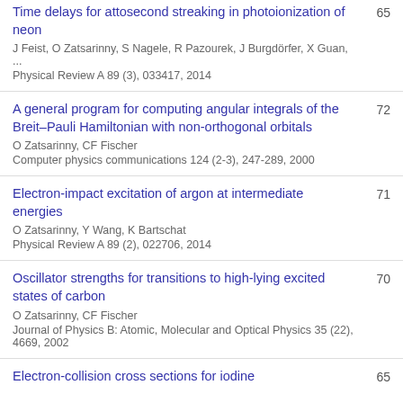Time delays for attosecond streaking in photoionization of neon
J Feist, O Zatsarinny, S Nagele, R Pazourek, J Burgdörfer, X Guan, ...
Physical Review A 89 (3), 033417, 2014
65
A general program for computing angular integrals of the Breit–Pauli Hamiltonian with non-orthogonal orbitals
O Zatsarinny, CF Fischer
Computer physics communications 124 (2-3), 247-289, 2000
72
Electron-impact excitation of argon at intermediate energies
O Zatsarinny, Y Wang, K Bartschat
Physical Review A 89 (2), 022706, 2014
71
Oscillator strengths for transitions to high-lying excited states of carbon
O Zatsarinny, CF Fischer
Journal of Physics B: Atomic, Molecular and Optical Physics 35 (22), 4669, 2002
70
Electron-collision cross sections for iodine
65